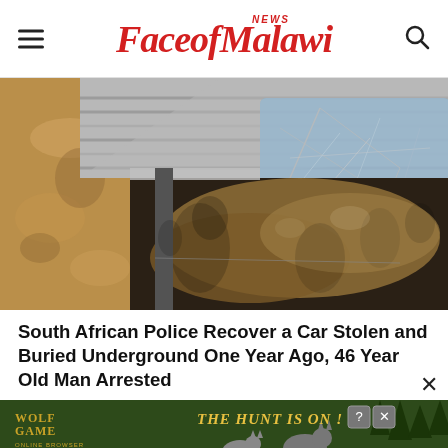FaceofMalawi NEWS
[Figure (photo): A car partially buried underground, visible through corrugated metal sheeting and a cracked car window, with sandy soil walls around it]
South African Police Recover a Car Stolen and Buried Underground One Year Ago, 46 Year Old Man Arrested
[Figure (photo): Advertisement banner for Wolf Game showing wolves in a field with text 'The Hunt Is On!']